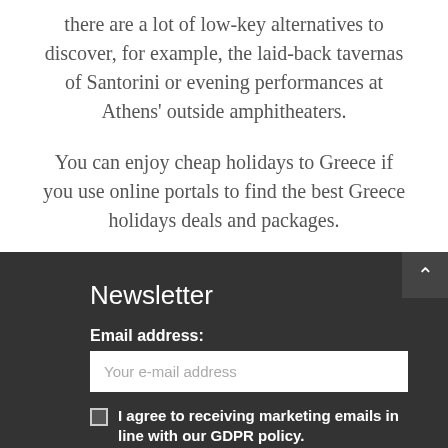there are a lot of low-key alternatives to discover, for example, the laid-back tavernas of Santorini or evening performances at Athens' outside amphitheaters.
You can enjoy cheap holidays to Greece if you use online portals to find the best Greece holidays deals and packages.
Newsletter
Email address:
Your e-mail address
I agree to receiving marketing emails in line with our GDPR policy.